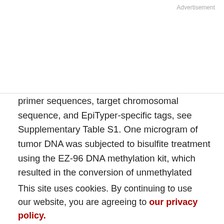Advertisement
primer sequences, target chromosomal sequence, and EpiTyper-specific tags, see Supplementary Table S1. One microgram of tumor DNA was subjected to bisulfite treatment using the EZ-96 DNA methylation kit, which resulted in the conversion of unmethylated cytosines into uracil, following the manufacturer's instructions (Zymo Research). PCR reactions were carried out in duplicate for each of the 2 selected primer pairs, for a total of 4
This site uses cookies. By continuing to use our website, you are agreeing to our privacy policy. Accept
of bisulfite- reaction in a 384-well microtiter PCR plate, using 0.2 units